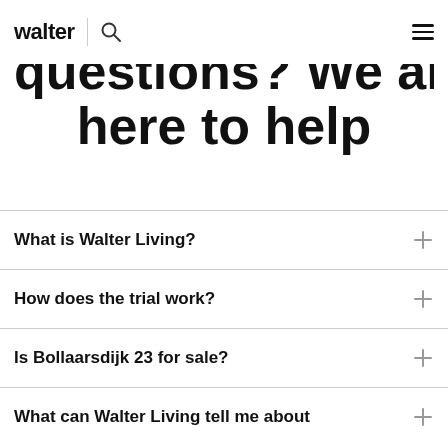walter | [search] [menu]
questions? We are here to help
What is Walter Living?
How does the trial work?
Is Bollaarsdijk 23 for sale?
What can Walter Living tell me about